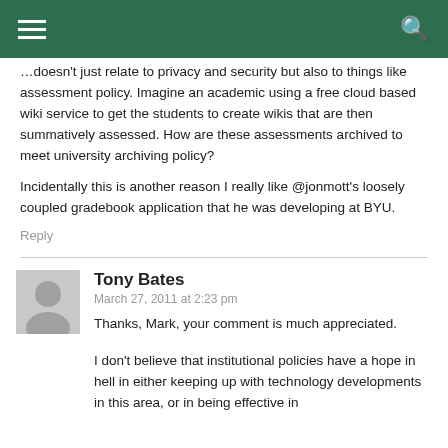…doesn't just relate to privacy and security but also to things like assessment policy. Imagine an academic using a free cloud based wiki service to get the students to create wikis that are then summatively assessed. How are these assessments archived to meet university archiving policy?

Incidentally this is another reason I really like @jonmott's loosely coupled gradebook application that he was developing at BYU.
Reply
Tony Bates
March 27, 2011 at 2:23 pm
Thanks, Mark, your comment is much appreciated.

I don't believe that institutional policies have a hope in hell in either keeping up with technology developments in this area, or in being effective in